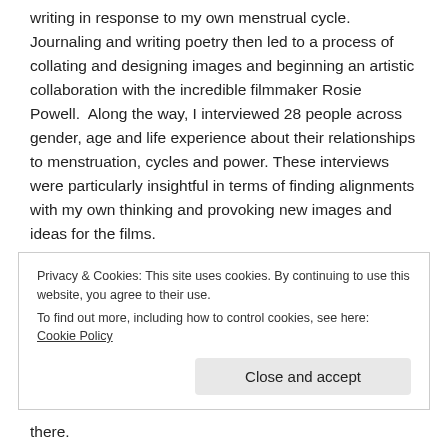writing in response to my own menstrual cycle. Journaling and writing poetry then led to a process of collating and designing images and beginning an artistic collaboration with the incredible filmmaker Rosie Powell.  Along the way, I interviewed 28 people across gender, age and life experience about their relationships to menstruation, cycles and power. These interviews were particularly insightful in terms of finding alignments with my own thinking and provoking new images and ideas for the films.
Film 23 (rage) is inspired by a conversation I had with a young woman who felt most powerful in her own rage. She shared how she is learning to slow down with it in order to truly be able to articulate and express it. Her wisdom conjured the
Privacy & Cookies: This site uses cookies. By continuing to use this website, you agree to their use.
To find out more, including how to control cookies, see here: Cookie Policy
Close and accept
there.